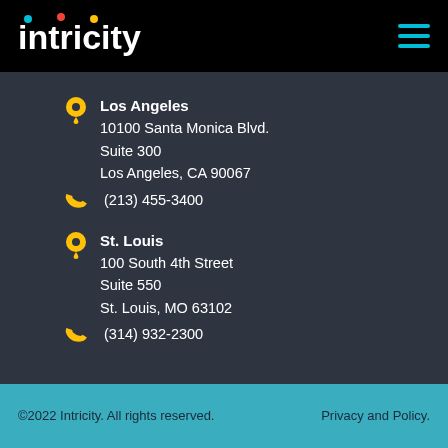[Figure (logo): Intricity logo in white bold text with colored dots above letters on black background, plus cyan hamburger menu icon]
Los Angeles
10100 Santa Monica Blvd.
Suite 300
Los Angeles, CA 90067
(213) 455-3400
St. Louis
100 South 4th Street
Suite 550
St. Louis, MO 63102
(314) 932-2300
©2022 Intricity. All rights reserved.
Privacy and Policy.